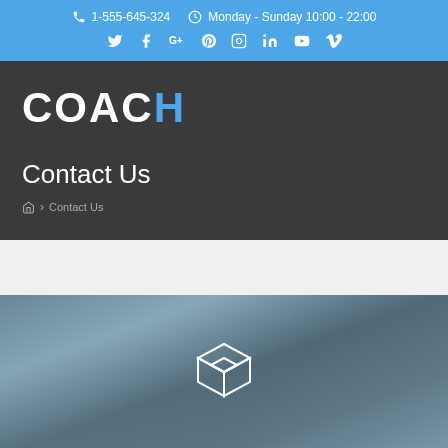1-555-645-324   Monday - Sunday 10:00 - 22:00
COACH
Contact Us
Home > Contact Us
[Figure (illustration): Blurred teal/blue background image with a white wireframe cube/box icon centered in the image]